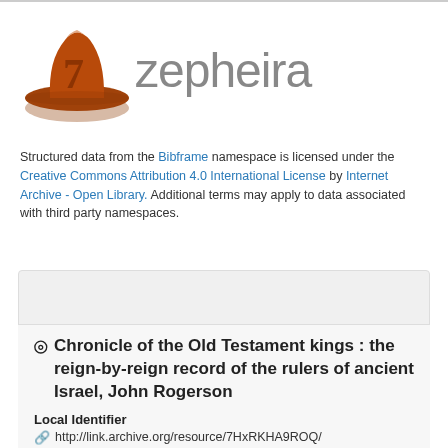[Figure (logo): Zepheira logo: brown/rust colored cowboy-hat shaped figure with a '7' on it, followed by the word 'zepheira' in gray sans-serif text]
Structured data from the Bibframe namespace is licensed under the Creative Commons Attribution 4.0 International License by Internet Archive - Open Library. Additional terms may apply to data associated with third party namespaces.
Link Analysis (Experimental)
Chronicle of the Old Testament kings : the reign-by-reign record of the rulers of ancient Israel, John Rogerson
Local Identifier
http://link.archive.org/resource/7HxRKHA9ROQ/